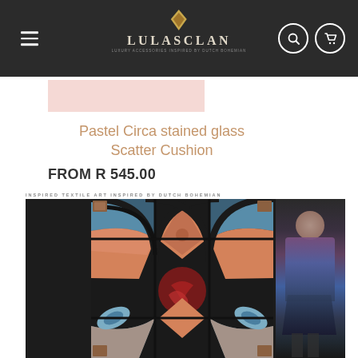[Figure (screenshot): LulaSClan e-commerce website navigation bar with hamburger menu, gold diamond logo, LULASCLAN brand name, search icon, and cart icon on dark background]
[Figure (photo): Pastel pink product image placeholder thumbnail]
Pastel Circa stained glass Scatter Cushion
FROM R 545.00
INSPIRED TEXTILE ART INSPIRED BY DUTCH BOHEMIAN
[Figure (photo): Two-panel image: left panel shows a colorful stained glass pattern with orange, black, and blue geometric/circular motifs; right panel shows a fashion model wearing a garment featuring the same stained glass print pattern]